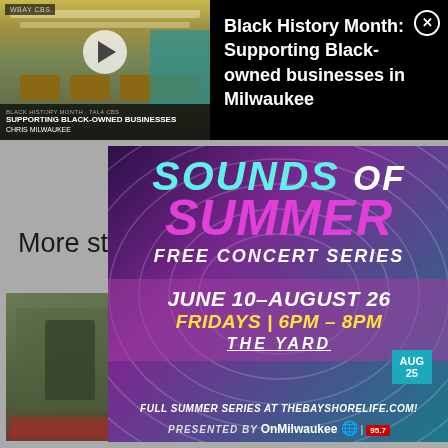[Figure (screenshot): Video thumbnail showing a restaurant interior with tables and chairs, labeled 'Supporting Black-Owned Businesses, Milwaukee' with a play button overlay]
Black History Month: Supporting Black-owned businesses in Milwaukee
More stories
[Figure (infographic): Sounds of Summer Free Concert Series ad - June 10–August 26, Fridays 6PM–8PM, The Yard. Full summer series at thebayshorelife.com. Presented by OnMilwaukee.]
[Figure (photo): Person on a ride at Summerfest]
Summerfest attendance up nearly 50% over 2021, but down over pre-covid era
Bobby Tanzilo · Jul 14
Summerfest
[Figure (advertisement): Young Guns advertisement - How to be the expert in your field]
Summerfest